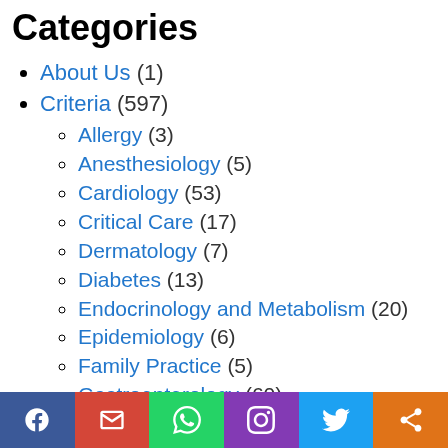Categories
About Us (1)
Criteria (597)
Allergy (3)
Anesthesiology (5)
Cardiology (53)
Critical Care (17)
Dermatology (7)
Diabetes (13)
Endocrinology and Metabolism (20)
Epidemiology (6)
Family Practice (5)
Gastroenterology (60)
Hematology (38)
Immumology (6)
Infectious Disease (42)
Internal Medicine (1)